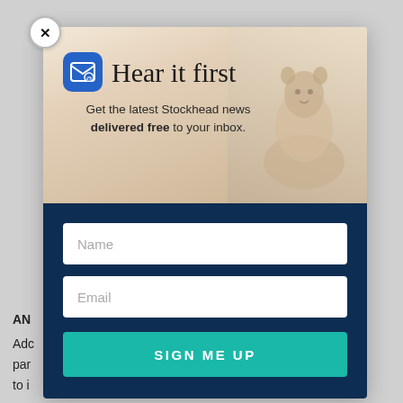[Figure (screenshot): Newsletter signup modal popup with close button (×), hero image with groundhog/marmot in background, email icon, 'Hear it first' heading, subtitle text, Name input field, Email input field, and 'SIGN ME UP' button on dark blue background.]
Hear it first
Get the latest Stockhead news delivered free to your inbox.
AN
Adc par rm to ic or.